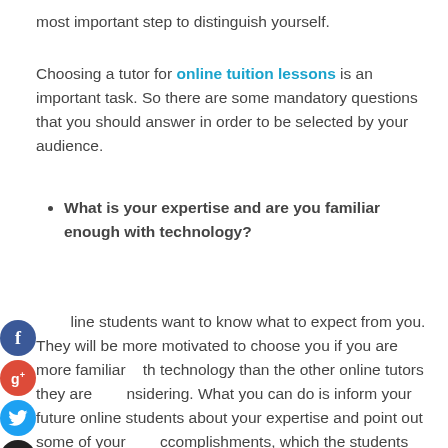most important step to distinguish yourself.
Choosing a tutor for online tuition lessons is an important task. So there are some mandatory questions that you should answer in order to be selected by your audience.
What is your expertise and are you familiar enough with technology?
Online students want to know what to expect from you. They will be more motivated to choose you if you are more familiar with technology than the other online tutors they are considering. What you can do is inform your future online students about your expertise and point out some of your accomplishments, which the students can also find by doing a Google search. Yes, accept it. Your online students will google you once in a while.